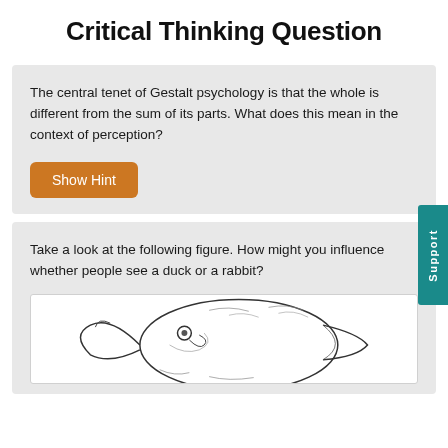Critical Thinking Question
The central tenet of Gestalt psychology is that the whole is different from the sum of its parts. What does this mean in the context of perception?
Show Hint
Take a look at the following figure. How might you influence whether people see a duck or a rabbit?
[Figure (illustration): The classic duck-rabbit optical illusion drawing showing an ambiguous figure that can be seen as either a duck facing left or a rabbit facing right.]